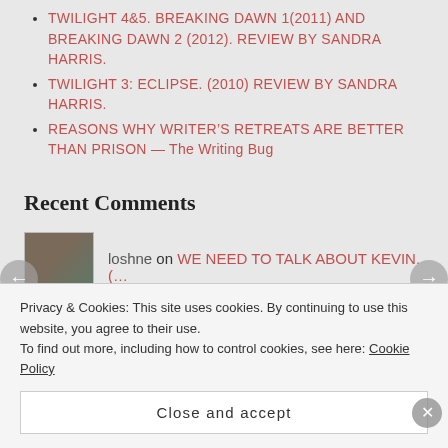TWILIGHT 4&5. BREAKING DAWN 1(2011) AND BREAKING DAWN 2 (2012). REVIEW BY SANDRA HARRIS.
TWILIGHT 3: ECLIPSE. (2010) REVIEW BY SANDRA HARRIS.
REASONS WHY WRITER’S RETREATS ARE BETTER THAN PRISON — The Writing Bug
Recent Comments
loshne on WE NEED TO TALK ABOUT KEVIN. (…
firstruleoffilmclub on WE NEED TO TALK ABOUT
Privacy & Cookies: This site uses cookies. By continuing to use this website, you agree to their use.
To find out more, including how to control cookies, see here: Cookie Policy
Close and accept